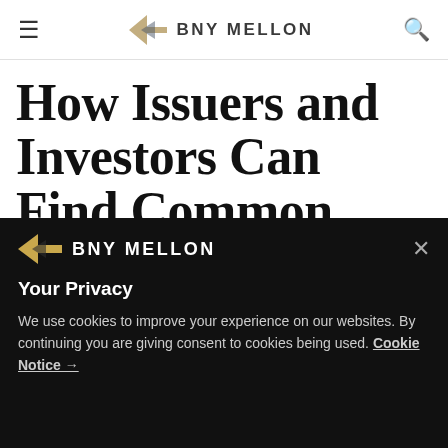BNY MELLON
How Issuers and Investors Can Find Common Ground on ESG
BNY Mellon's latest research, on ESG-focused
[Figure (logo): BNY Mellon logo with arrow icon in cookie banner]
Your Privacy
We use cookies to improve your experience on our websites. By continuing you are giving consent to cookies being used. Cookie Notice →